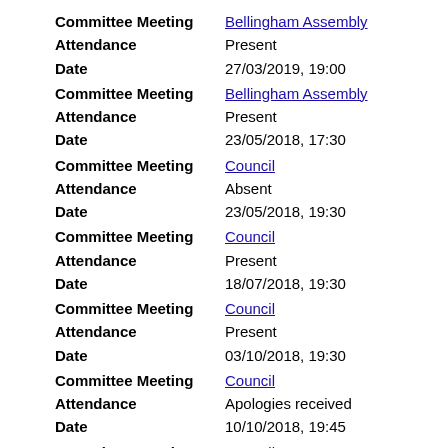Committee Meeting: Bellingham Assembly | Attendance: Present | Date: 27/03/2019, 19:00
Committee Meeting: Bellingham Assembly | Attendance: Present | Date: 23/05/2018, 17:30
Committee Meeting: Council | Attendance: Absent | Date: 23/05/2018, 19:30
Committee Meeting: Council | Attendance: Present | Date: 18/07/2018, 19:30
Committee Meeting: Council | Attendance: Present | Date: 03/10/2018, 19:30
Committee Meeting: Council | Attendance: Apologies received | Date: 10/10/2018, 19:45
Committee Meeting: Council | Attendance: Present | Date: 28/11/2018, 19:30